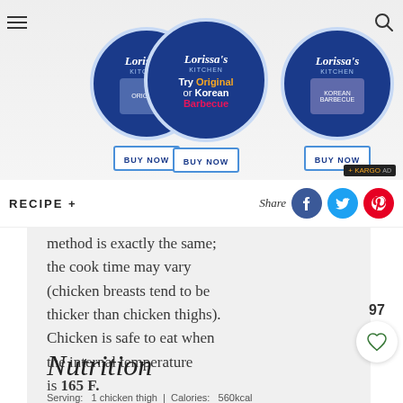[Figure (other): Lorissa's Kitchen advertisement banner showing three circular product images with 'Try Original or Korean Barbecue' text and BUY NOW buttons]
RECIPE +
Share
method is exactly the same; the cook time may vary (chicken breasts tend to be thicker than chicken thighs). Chicken is safe to eat when the internal temperature is 165 F.
Nutrition
Serving: 1 chicken thigh | Calories: 560kcal